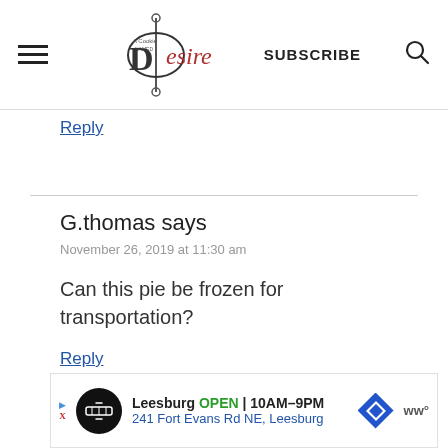A Cookie Named Desire — SUBSCRIBE [search]
Reply
G.thomas says
November 26, 2019 at 11:30 am
Can this pie be frozen for transportation?
Reply
[Figure (other): Advertisement banner: Leesburg OPEN 10AM-9PM, 241 Fort Evans Rd NE, Leesburg]